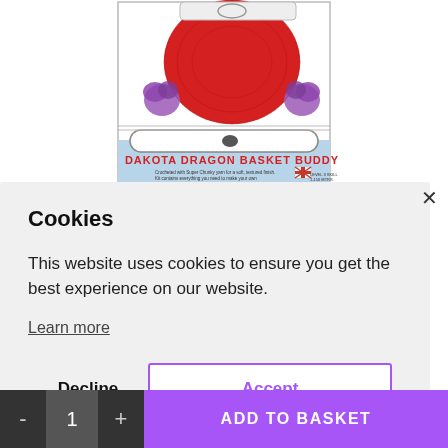[Figure (screenshot): Product page screenshot showing Dakota Dragon Basket Buddy crochet kit packaging with red crocheted dragon figure on top and product label below reading 'DAKOTA DRAGON BASKET BUDDY']
Cookies
This website uses cookies to ensure you get the best experience on our website.
Learn more
Decline
Accept
- 1 + ADD TO BASKET